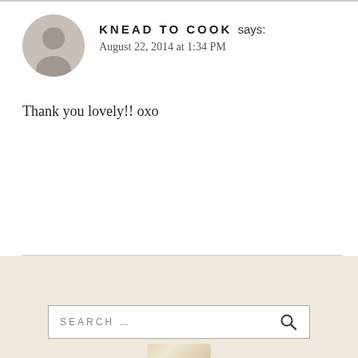KNEAD TO COOK says: August 22, 2014 at 1:34 PM
Thank you lovely!! oxo
Comments are closed.
SEARCH ...